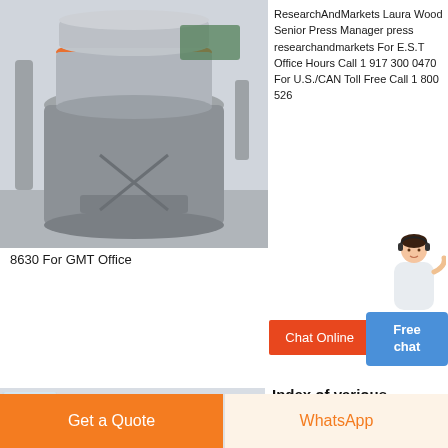[Figure (photo): Industrial mill or grinding machine inside a factory building, large metal cylindrical machine with orange rim at top, various pipes and equipment visible]
ResearchAndMarkets Laura Wood Senior Press Manager press researchandmarkets For E.S.T Office Hours Call 1 917 300 0470 For U.S./CAN Toll Free Call 1 800 526 8630 For GMT Office
8630 For GMT Office
[Figure (photo): Industrial vertical mill or separator machine in a large warehouse with yellow metal staircase/railing in background, grey machinery with ventilation ducts]
Index of various semiconductor manufacturing equipment
2012 1 31 a nationwide organization of semiconductor manufacturing and liquid crystal display panel
Chat Online
Free chat
Get a Quote
WhatsApp